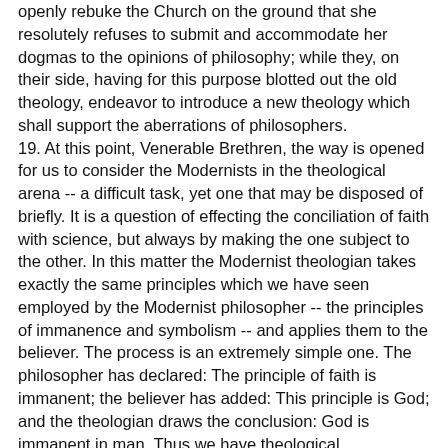openly rebuke the Church on the ground that she resolutely refuses to submit and accommodate her dogmas to the opinions of philosophy; while they, on their side, having for this purpose blotted out the old theology, endeavor to introduce a new theology which shall support the aberrations of philosophers. 19. At this point, Venerable Brethren, the way is opened for us to consider the Modernists in the theological arena -- a difficult task, yet one that may be disposed of briefly. It is a question of effecting the conciliation of faith with science, but always by making the one subject to the other. In this matter the Modernist theologian takes exactly the same principles which we have seen employed by the Modernist philosopher -- the principles of immanence and symbolism -- and applies them to the believer. The process is an extremely simple one. The philosopher has declared: The principle of faith is immanent; the believer has added: This principle is God; and the theologian draws the conclusion: God is immanent in man. Thus we have theological immanence. So, too, the philosopher regards it as certain that the representations of the object of faith are merely symbolical; the believer has likewise affirmed that the object of faith is God in himself; and the theologian may state to affirm that The